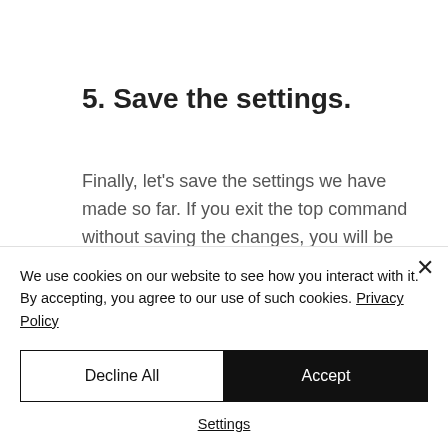5. Save the settings.
Finally, let's save the settings we have made so far. If you exit the top command without saving the changes, you will be back to the original state the next time you hit
We use cookies on our website to see how you interact with it. By accepting, you agree to our use of such cookies. Privacy Policy
Decline All
Accept
Settings